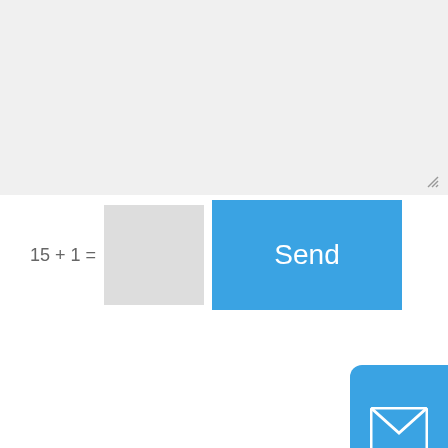[Figure (screenshot): Gray textarea input field with resize handle in bottom-right corner]
15 + 1 =
[Figure (screenshot): CAPTCHA answer input box (gray)]
[Figure (screenshot): Blue 'Send' button]
[Figure (screenshot): Blue mail/envelope icon button on right edge]
Share the Link
[Figure (screenshot): Social share icons: Twitter, LinkedIn, Reddit, Blogger]
[Figure (screenshot): Back to top arrow button]
COMPANY
About Us
[Figure (screenshot): reCAPTCHA widget with Privacy and Terms text]